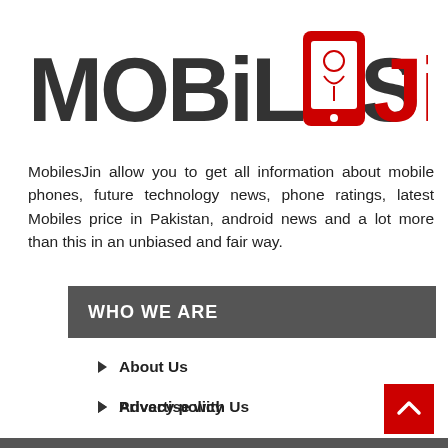[Figure (logo): MobilesJin logo — 'MOBILES' in dark gray bold text, a red smartphone icon with a genie figure, 'JiN' in red bold text]
MobilesJin allow you to get all information about mobile phones, future technology news, phone ratings, latest Mobiles price in Pakistan, android news and a lot more than this in an unbiased and fair way.
WHO WE ARE
About Us
Advertise with Us
Privacy policy
Contact us